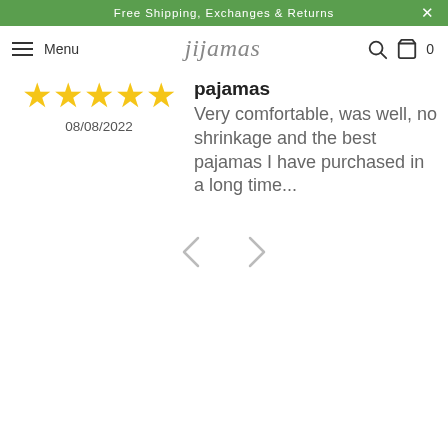Free Shipping, Exchanges & Returns
Menu  jijamas  🔍 🛒 0
[Figure (other): Five yellow star rating icons]
08/08/2022
pajamas
Very comfortable, was well, no shrinkage and the best pajamas I have purchased in a long time...
[Figure (other): Left and right navigation arrows for carousel]